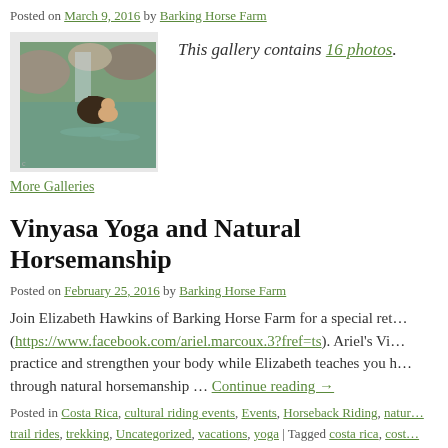Posted on March 9, 2016 by Barking Horse Farm
[Figure (photo): Person swimming with a horse in a river with rocky background]
This gallery contains 16 photos.
More Galleries
Vinyasa Yoga and Natural Horsemanship
Posted on February 25, 2016 by Barking Horse Farm
Join Elizabeth Hawkins of Barking Horse Farm for a special ret… (https://www.facebook.com/ariel.marcoux.3?fref=ts). Ariel's Vi… practice and strengthen your body while Elizabeth teaches you … through natural horsemanship … Continue reading →
Posted in Costa Rica, cultural riding events, Events, Horseback Riding, natur… trail rides, trekking, Uncategorized, vacations, yoga | Tagged costa rica, cost…